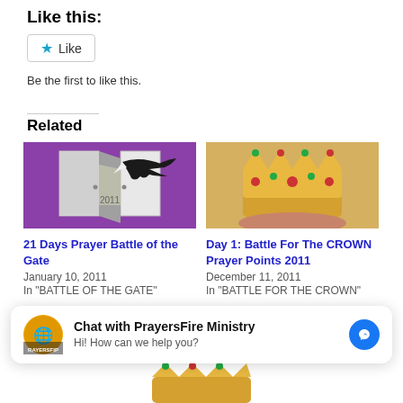Like this:
Like
Be the first to like this.
Related
[Figure (illustration): Purple background with open double doors and a black eagle flying through, labeled 2011]
21 Days Prayer Battle of the Gate
January 10, 2011
In "BATTLE OF THE GATE"
[Figure (photo): A hand holding a golden jeweled crown]
Day 1: Battle For The CROWN Prayer Points 2011
December 11, 2011
In "BATTLE FOR THE CROWN"
Chat with PrayersFire Ministry
Hi! How can we help you?